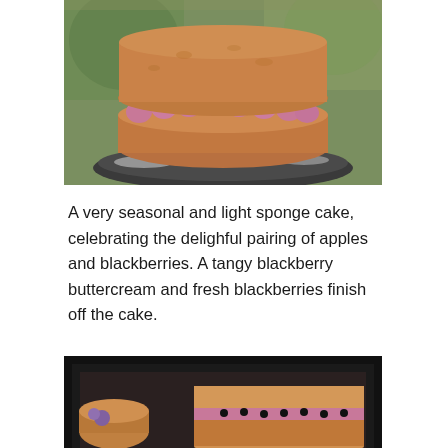[Figure (photo): Close-up photo of a round sponge cake sandwich with pink/mauve blackberry buttercream piped between two golden-brown sponge layers, with blackberries visible, sitting on a dark plate dusted with powdered sugar. Blurred green garden background.]
A very seasonal and light sponge cake, celebrating the delighful pairing of apples and blackberries. A tangy blackberry buttercream and fresh blackberries finish off the cake.
[Figure (photo): Partial view of cake slices showing sponge layers with cream and blackberries, dark background with black border frame.]